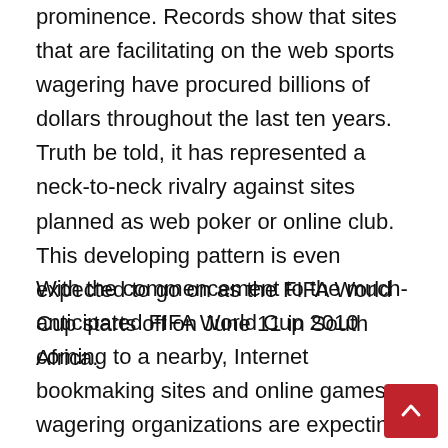prominence. Records show that sites that are facilitating on the web sports wagering have procured billions of dollars throughout the last ten years. Truth be told, it has represented a neck-to-neck rivalry against sites planned as web poker or online club. This developing pattern is even expected to go on as the FIFA World Cup starts off on June 11 in South Africa.
With the commencement to the much-anticipated FIFA World Cup 2010 coming to a nearby, Internet bookmaking sites and online games wagering organizations are expecting a significant expansion in their incomes which will ultimately help their main concern. Since this occasion just happens once in four years, experts are anticipating a tremendous